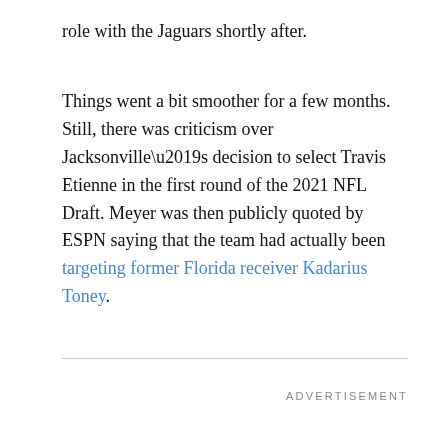role with the Jaguars shortly after.
Things went a bit smoother for a few months. Still, there was criticism over Jacksonville’s decision to select Travis Etienne in the first round of the 2021 NFL Draft. Meyer was then publicly quoted by ESPN saying that the team had actually been targeting former Florida receiver Kadarius Toney.
ADVERTISEMENT